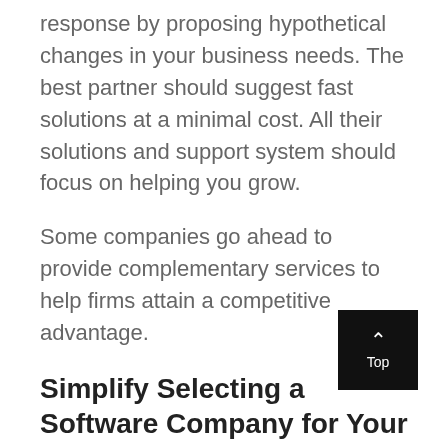response by proposing hypothetical changes in your business needs. The best partner should suggest fast solutions at a minimal cost. All their solutions and support system should focus on helping you grow.
Some companies go ahead to provide complementary services to help firms attain a competitive advantage.
Simplify Selecting a Software Company for Your Business by Following These Tips